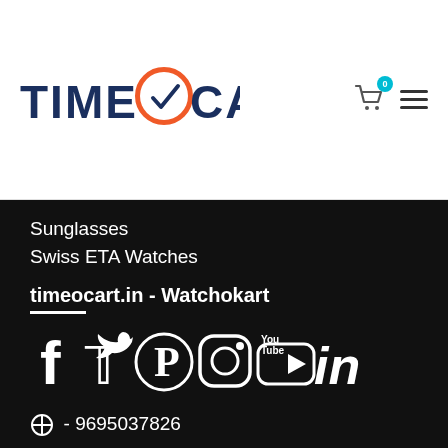[Figure (logo): TimeOCart logo with clock and checkmark icon, text reads TIME O CART in dark blue]
Sunglasses
Swiss ETA Watches
timeocart.in - Watchokart
[Figure (infographic): Social media icons: Facebook, Twitter, Pinterest, Instagram, YouTube, LinkedIn]
⊘ - 9695037826